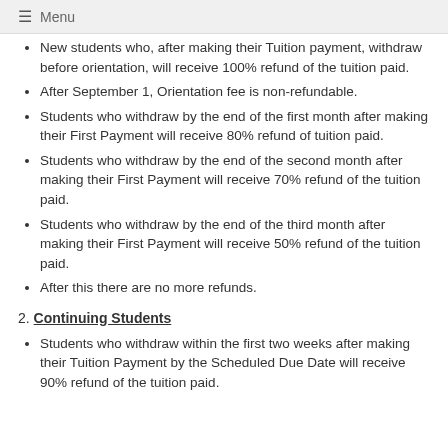≡ Menu
New students who, after making their Tuition payment, withdraw before orientation, will receive 100% refund of the tuition paid.
After September 1, Orientation fee is non-refundable.
Students who withdraw by the end of the first month after making their First Payment will receive 80% refund of tuition paid.
Students who withdraw by the end of the second month after making their First Payment will receive 70% refund of the tuition paid.
Students who withdraw by the end of the third month after making their First Payment will receive 50% refund of the tuition paid.
After this there are no more refunds.
2. Continuing Students
Students who withdraw within the first two weeks after making their Tuition Payment by the Scheduled Due Date will receive 90% refund of the tuition paid.